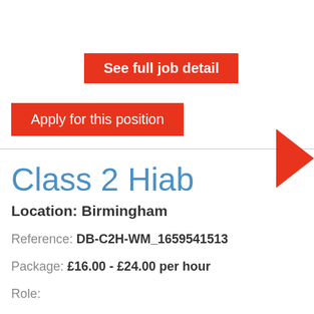See full job detail
Apply for this position
Class 2 Hiab
Location: Birmingham
Reference: DB-C2H-WM_1659541513
Package: £16.00 - £24.00 per hour
Role: